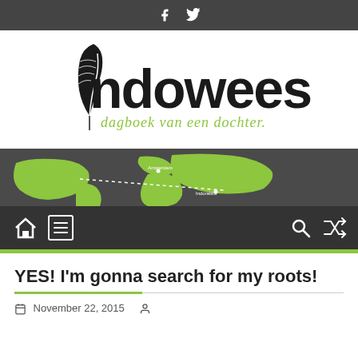Social bar with Facebook and Twitter icons
[Figure (logo): Indowees logo with feather quill and tagline 'dagboek van een dochter.']
[Figure (map): World map banner in green and dark gray showing travel route]
[Figure (infographic): Navigation bar with home icon, menu icon, search icon, and shuffle icon]
YES! I'm gonna search for my roots!
November 22, 2015